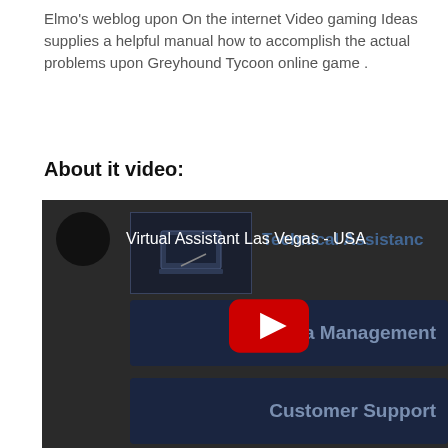Elmo's weblog upon On the internet Video gaming Ideas supplies a helpful manual how to accomplish the actual problems upon Greyhound Tycoon online game .
About it video:
[Figure (screenshot): A cropped screenshot of a YouTube video titled 'Virtual Assistant Las Vegas - USA' showing a dark-themed webpage with a channel avatar circle, a thumbnail image, and several dark navy menu buttons labeled: Technical Assistance, Data Management, Customer Support, Business Analysis. A YouTube play button (red with white triangle) is overlaid near the center-bottom of the video frame.]